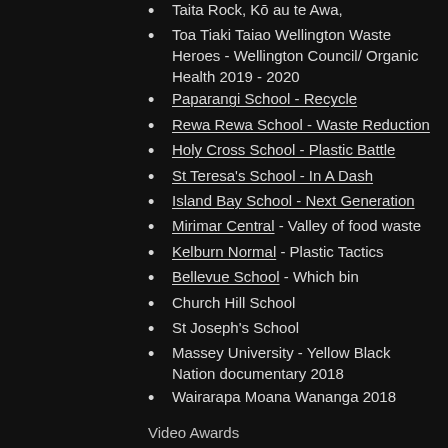Taita Rock, Kō au te Awa,
Toa Tiaki Taiao Wellington Waste Heroes  - Wellington Council/ Organic Health 2019 - 2020
Paparangi School - Recycle
Rewa Rewa School - Waste Reduction
Holy Cross School - Plastic Battle
St Teresa's School - In A Dash
Island Bay School - Next Generation
Mirimar Central - Valley of food waste
Kelburn Normal - Plastic Tactics
Bellevue School - Which bin
Church Hill School
St Joseph's School
Massey University - Yellow Black Nation documentary 2018
Wairarapa Moana Wananga 2018
Video Awards
Outlook For Someday - Young people + Films + Sustainability (2012)
Road safe NZ Best Video & and Radio Ad - (2013)
Outlook For Someday - Young people